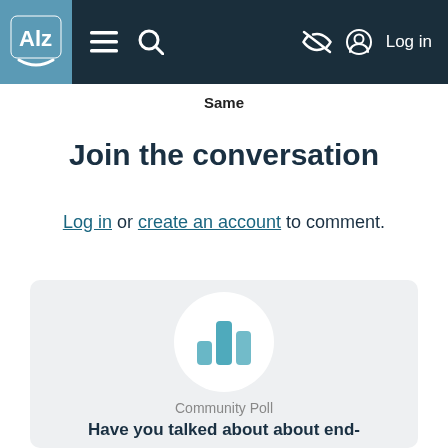ALZ [logo] — navigation bar with menu, search, accessibility, Log in
Same
Join the conversation
Log in or create an account to comment.
[Figure (infographic): Community poll card with bar chart icon in a white circle on a light grey background, labelled 'Community Poll', with question beginning 'Have you talked about about end-']
Community Poll
Have you talked about about end-